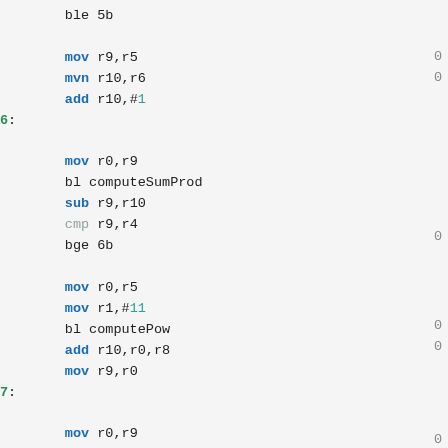ble 5b

mov r9,r5
mvn r10,r6
add r10,#1
6:

mov r0,r9
bl computeSumProd
sub r9,r10
cmp r9,r4
bge 6b

mov r0,r5
mov r1,#11
bl computePow
add r10,r0,r8
mov r9,r0
7:

mov r0,r9
bl computeSumProd
add r9,#1
cmp r9,r10
ble 7b